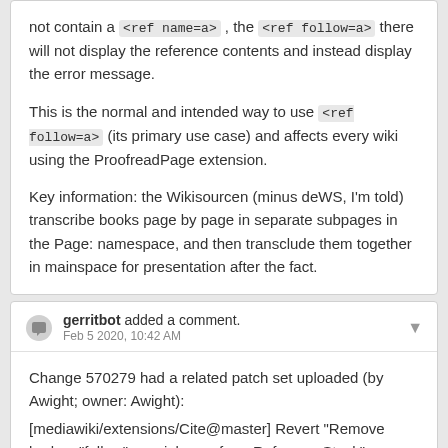not contain a <ref name=a>, the <ref follow=a> there will not display the reference contents and instead display the error message.
This is the normal and intended way to use <ref follow=a> (its primary use case) and affects every wiki using the ProofreadPage extension.
Key information: the Wikisourcen (minus deWS, I'm told) transcribe books page by page in separate subpages in the Page: namespace, and then transclude them together in mainspace for presentation after the fact.
gerritbot added a comment. Feb 5 2020, 10:42 AM
Change 570279 had a related patch set uploaded (by Awight; owner: Awight): [mediawiki/extensions/Cite@master] Revert "Remove broken "follow" special case from ReferenceStack"